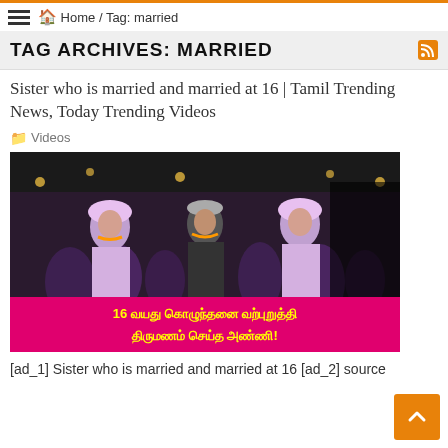Home / Tag: married
TAG ARCHIVES: MARRIED
Sister who is married and married at 16 | Tamil Trending News, Today Trending Videos
Videos
[Figure (photo): Wedding scene photo with Tamil text overlay reading '16 வயது கொழுந்தனை வற்புறுத்தி திருமணம் செய்த அண்ணி!']
[ad_1] Sister who is married and married at 16 [ad_2] source